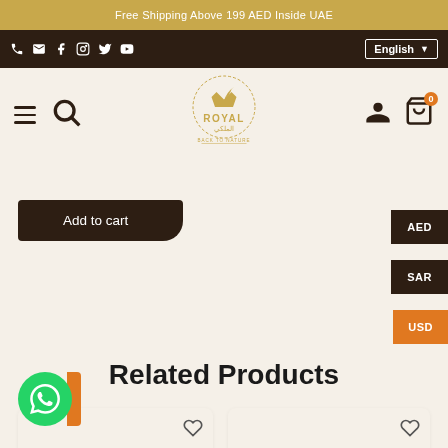Free Shipping Above 199 AED Inside UAE
Navigation bar with icons and English language selector
[Figure (logo): Royal Back to Nature logo with crown and leaf emblem, gold and brown text]
Add to cart
AED
SAR
USD
Related Products
[Figure (illustration): Product card placeholder left with heart/wishlist icon]
[Figure (illustration): Product card placeholder right with heart/wishlist icon]